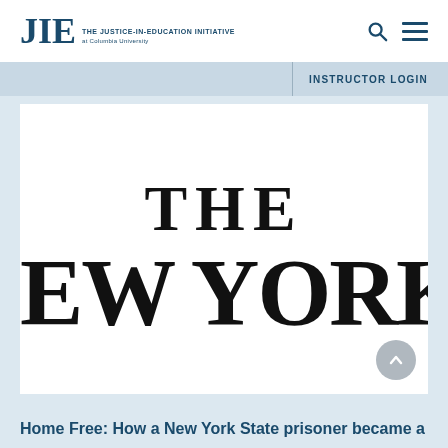[Figure (logo): JIE - The Justice-in-Education Initiative at Columbia University logo with search and menu icons]
INSTRUCTOR LOGIN
[Figure (screenshot): The New Yorker magazine logo/masthead cropped showing 'THE' on top row and 'EW YORKE' on bottom row in large bold serif font]
Home Free: How a New York State prisoner became a